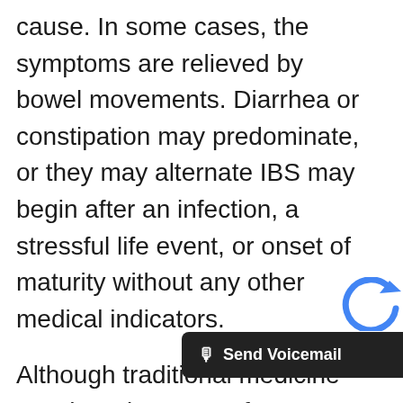cause. In some cases, the symptoms are relieved by bowel movements. Diarrhea or constipation may predominate, or they may alternate IBS may begin after an infection, a stressful life event, or onset of maturity without any other medical indicators.

Although traditional medicine say there is no cure for IBS, I totally disagree-and so do my patients. There are treatments that attempt to relieve symptoms, including dietary adjustments, supplements, and medication. If you want to get rid of it